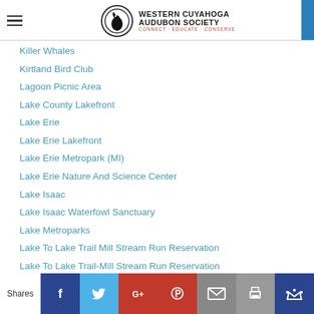Western Cuyahoga Audubon Society - Connect | Educate | Conserve
Killer Whales
Kirtland Bird Club
Lagoon Picnic Area
Lake County Lakefront
Lake Erie
Lake Erie Lakefront
Lake Erie Metropark (MI)
Lake Erie Nature And Science Center
Lake Isaac
Lake Isaac Waterfowl Sanctuary
Lake Metroparks
Lake To Lake Trail Mill Stream Run Reservation
Lake To Lake Trail-Mill Stream Run Reservation
Laura Gooch
Law Enforcement
Shares | Facebook | Twitter | Google+ | Pinterest | Email | Print | Crown